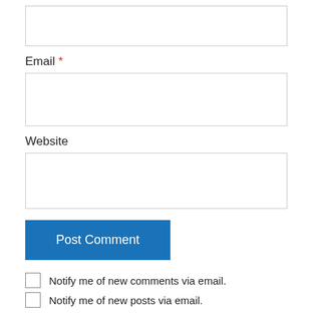[Figure (screenshot): Top of a web form with an empty text input box (partially visible at top)]
Email *
[Figure (screenshot): Empty email input text box]
Website
[Figure (screenshot): Empty website input text box]
Post Comment
Notify me of new comments via email.
Notify me of new posts via email.
littlehousebytheferry on February 26, 2017 at 10:04